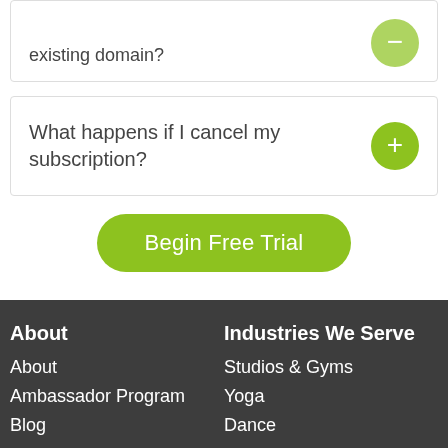existing domain?
What happens if I cancel my subscription?
Begin Free Trial
About
About
Ambassador Program
Blog
Industries We Serve
Studios & Gyms
Yoga
Dance